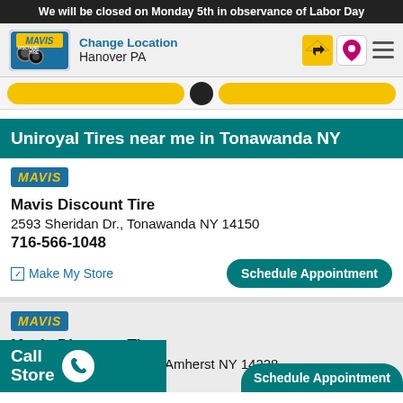We will be closed on Monday 5th in observance of Labor Day
[Figure (logo): Mavis Discount Tire logo with tires graphic]
Change Location
Hanover PA
Uniroyal Tires near me in Tonawanda NY
[Figure (logo): Mavis blue badge logo with yellow italic text]
Mavis Discount Tire
2593 Sheridan Dr., Tonawanda NY 14150
716-566-1048
Make My Store
Schedule Appointment
[Figure (logo): Mavis blue badge logo with yellow italic text]
Mavis Discount Tire
4485 Niagara Falls Blvd., Amherst NY 14228
Call Store
Schedule Appointment